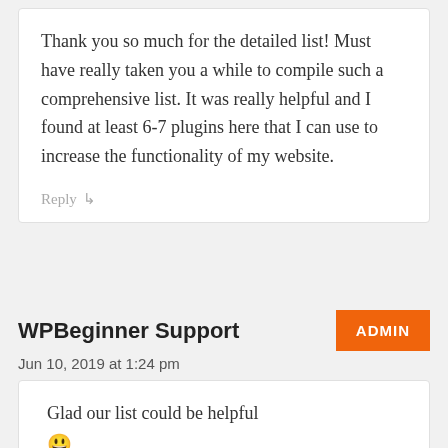Thank you so much for the detailed list! Must have really taken you a while to compile such a comprehensive list. It was really helpful and I found at least 6-7 plugins here that I can use to increase the functionality of my website.
Reply ↳
WPBeginner Support
ADMIN
Jun 10, 2019 at 1:24 pm
Glad our list could be helpful 😀
Reply ↳